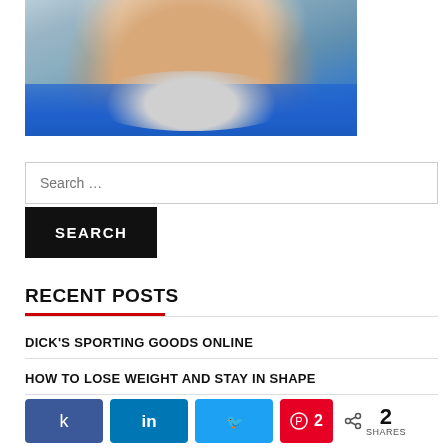[Figure (photo): Close-up photo of an older man with a white beard, smiling, wearing a blue polo shirt, taken outdoors near a building.]
Search …
SEARCH
RECENT POSTS
DICK'S SPORTING GOODS ONLINE
HOW TO LOSE WEIGHT AND STAY IN SHAPE
2 SHARES